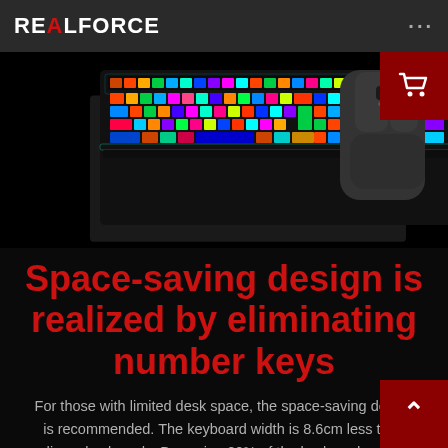REALFORCE
[Figure (photo): RGB mechanical keyboard with colorful backlighting alongside a dark grey wireless mouse, displayed on a black background. A cart icon button appears in the top right corner.]
Space-saving design is realized by eliminating number keys
For those with limited desk space, the space-saving design is recommended. The keyboard width is 8.6cm less than ordinary keyboards. By saving 20% of the keyboard space, a larger space for using the mouse becomes available.